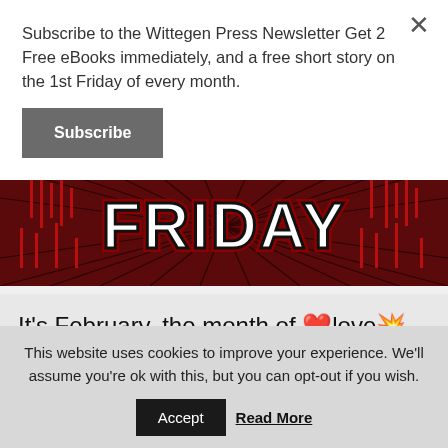Subscribe to the Wittegen Press Newsletter Get 2 Free eBooks immediately, and a free short story on the 1st Friday of every month.
Subscribe
[Figure (photo): Dark red banner image with the word FRIDAY in large bold white text with red glowing effect, on a dark background with radiating lines and red accent lighting]
It's February, the month of ❤️love💥, but what would happen if that love spanned millennia,
This website uses cookies to improve your experience. We'll assume you're ok with this, but you can opt-out if you wish.
Accept
Read More